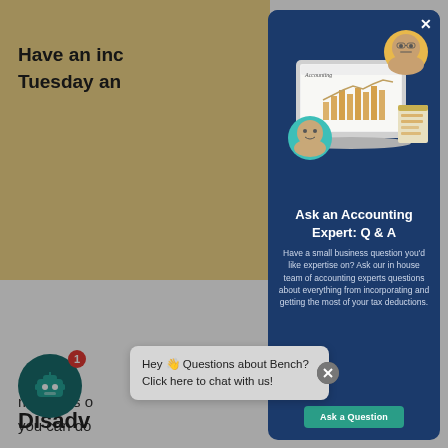Have an inc...
Tuesday an...
members o...
you can do...
And unlike...
returns als...
insurance,...
[Figure (screenshot): Modal popup on a dark navy blue background showing an accounting software laptop illustration with two circular profile photos of people, a document icon, titled 'Ask an Accounting Expert: Q & A' with descriptive text and an 'Ask a Question' button]
Hey 👋 Questions about Bench? Click here to chat with us!
Disadv...